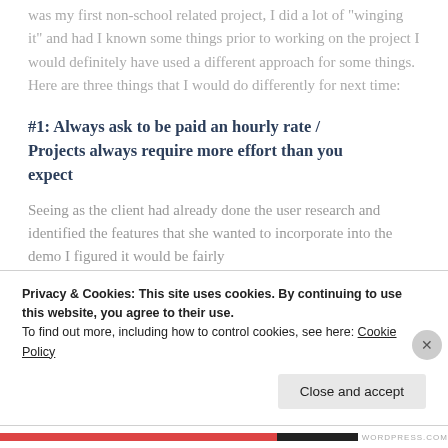was my first non-school related project, I did a lot of “winging it” and had I known some things prior to working on the project I would definitely have used a different approach for some things. Here are three things that I would do differently for next time:
#1: Always ask to be paid an hourly rate / Projects always require more effort than you expect
Seeing as the client had already done the user research and identified the features that she wanted to incorporate into the demo I figured it would be fairly
Privacy & Cookies: This site uses cookies. By continuing to use this website, you agree to their use.
To find out more, including how to control cookies, see here: Cookie Policy
Close and accept